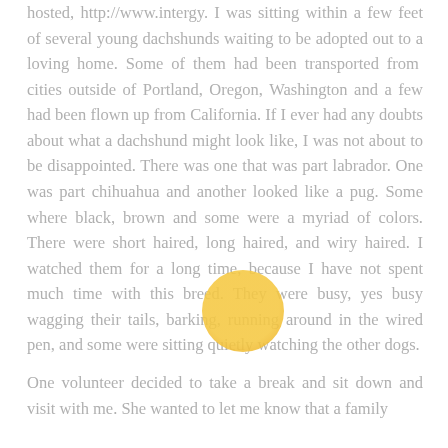hosted, http://www.intergy.  I was sitting within a few feet of several young dachshunds waiting to be adopted out to a loving home.  Some of them had been transported from  cities outside of Portland, Oregon, Washington and a few had been flown up from California.  If I ever had any doubts about what a dachshund might look like, I was not about to be disappointed.  There was one that was part labrador.  One was part chihuahua and another looked like a pug.  Some where black, brown and some were a myriad of colors.  There were short haired, long haired, and wiry haired.  I watched them for a long time, because I have not spent much time with this breed.  They were busy, yes busy wagging their tails, barking, running around in the wired pen, and some were sitting quietly watching the other dogs.
[Figure (illustration): A golden/yellow circle (dot) overlaid on the text, approximately centered horizontally and vertically on the page.]
One volunteer decided to take a break and sit down and visit with me.  She wanted to let me know that a family